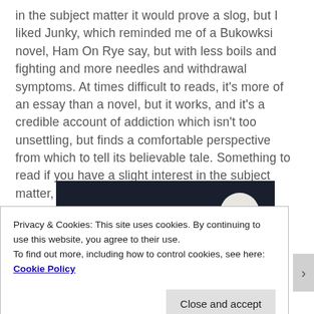in the subject matter it would prove a slog, but I liked Junky, which reminded me of a Bukowksi novel, Ham On Rye say, but with less boils and fighting and more needles and withdrawal symptoms. At times difficult to reads, it's more of an essay than a novel, but it works, and it's a credible account of addiction which isn't too unsettling, but finds a comfortable perspective from which to tell its believable tale. Something to read if you have a slight interest in the subject matter, or are a fan of Burroughs' work. [7]
[Figure (photo): Partial view of a book cover with dark navy background, a pink/magenta rectangular bar element on the left and a white circle on the right.]
Privacy & Cookies: This site uses cookies. By continuing to use this website, you agree to their use.
To find out more, including how to control cookies, see here: Cookie Policy
Close and accept